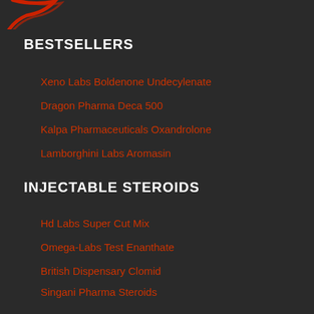[Figure (logo): Red partial logo/swoosh visible at top left corner]
BESTSELLERS
Xeno Labs Boldenone Undecylenate
Dragon Pharma Deca 500
Kalpa Pharmaceuticals Oxandrolone
Lamborghini Labs Aromasin
INJECTABLE STEROIDS
Hd Labs Super Cut Mix
Omega-Labs Test Enanthate
British Dispensary Clomid
Singani Pharma Steroids
ORAL STEROIDS